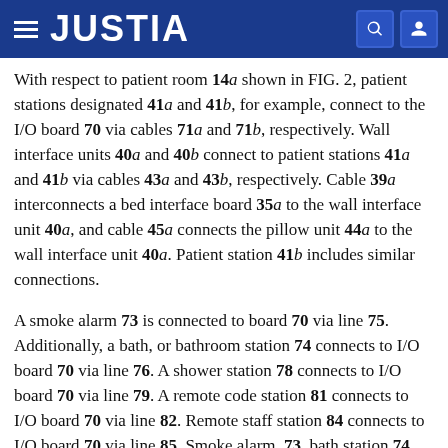JUSTIA
With respect to patient room 14a shown in FIG. 2, patient stations designated 41a and 41b, for example, connect to the I/O board 70 via cables 71a and 71b, respectively. Wall interface units 40a and 40b connect to patient stations 41a and 41b via cables 43a and 43b, respectively. Cable 39a interconnects a bed interface board 35a to the wall interface unit 40a, and cable 45a connects the pillow unit 44a to the wall interface unit 40a. Patient station 41b includes similar connections.
A smoke alarm 73 is connected to board 70 via line 75. Additionally, a bath, or bathroom station 74 connects to I/O board 70 via line 76. A shower station 78 connects to I/O board 70 via line 79. A remote code station 81 connects to I/O board 70 via line 82. Remote staff station 84 connects to I/O board 70 via line 85. Smoke alarm, 73, bath station 74, shower station 78, remote code station